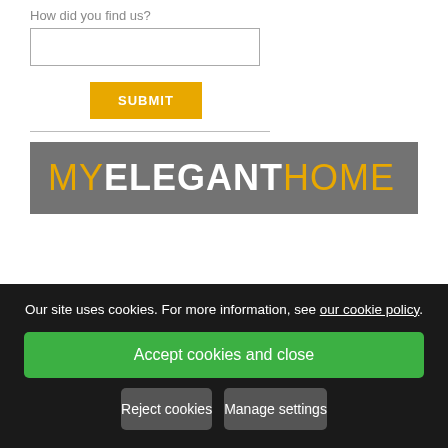How did you find us?
[Figure (screenshot): Form input field (text box) for 'How did you find us?' question]
[Figure (other): SUBMIT button in gold/yellow color]
[Figure (logo): MyElegantHome logo on grey banner background — MY in gold, ELEGANT in white bold, HOME in gold]
Our site uses cookies. For more information, see our cookie policy.
Accept cookies and close
Reject cookies
Manage settings